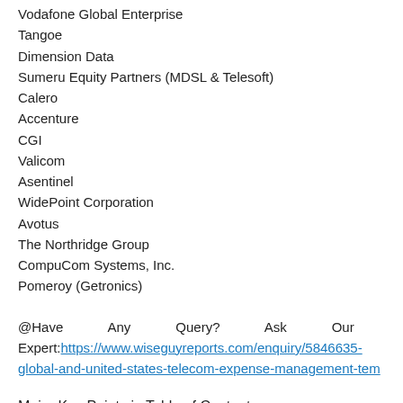Vodafone Global Enterprise
Tangoe
Dimension Data
Sumeru Equity Partners (MDSL & Telesoft)
Calero
Accenture
CGI
Valicom
Asentinel
WidePoint Corporation
Avotus
The Northridge Group
CompuCom Systems, Inc.
Pomeroy (Getronics)
@Have Any Query? Ask Our Expert:https://www.wiseguyreports.com/enquiry/5846635-global-and-united-states-telecom-expense-management-tem
Major Key Points in Table of Content
1 Report Overview
2 Global Growth Trends